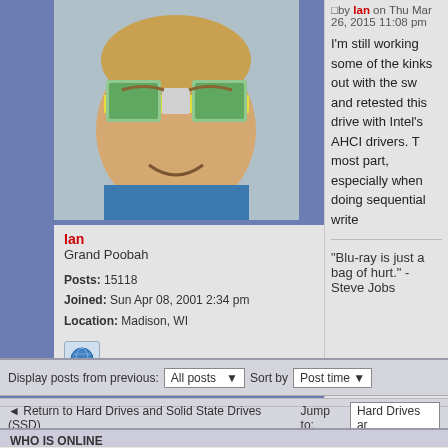[Figure (photo): Avatar photo of user Ian - a young child wearing novelty glasses/goggles]
Ian
Grand Poobah

Posts: 15118
Joined: Sun Apr 08, 2001 2:34 pm
Location: Madison, WI
[Figure (illustration): Globe/world icon button]
by Ian on Thu Mar 26, 2015 11:08 pm

I'm still working some of the kinks out with the sw and retested this drive with Intel's AHCI drivers. T most part, especially when doing sequential write
"Blu-ray is just a bag of hurt." - Steve Jobs
Display posts from previous:  All posts ▼  Sort by  Post time ▼
POSTREPLY ↲
◄ Return to Hard Drives and Solid State Drives (SSD)  Jump to:  Hard Drives ar
WHO IS ONLINE
Users browsing this forum: No registered users and 0 guests